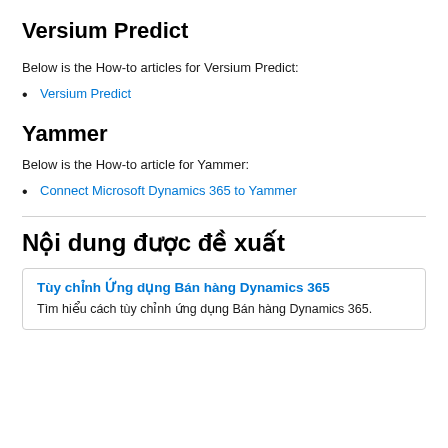Versium Predict
Below is the How-to articles for Versium Predict:
Versium Predict
Yammer
Below is the How-to article for Yammer:
Connect Microsoft Dynamics 365 to Yammer
Nội dung được đề xuất
Tùy chỉnh Ứng dụng Bán hàng Dynamics 365
Tìm hiểu cách tùy chỉnh ứng dụng Bán hàng Dynamics 365.